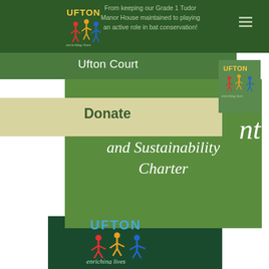[Figure (screenshot): Ufton Court website screenshot showing navigation header with logo, hamburger menu, donate button, and Environmental Management and Sustainability Charter title on green background, with Ufton Court logo footer]
From keeping our Grade 1 Tudor Manor House maintained to playing an active role in bat conservation!
Ufton Court
Donate
and Sustainability Charter